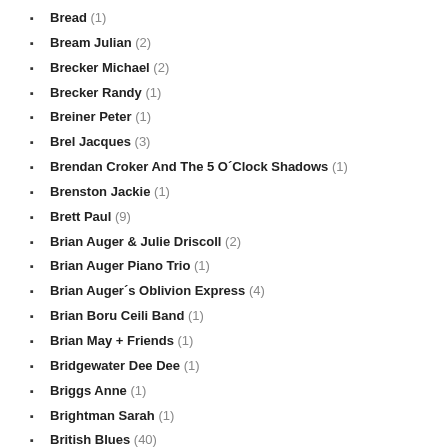Bread (1)
Bream Julian (2)
Brecker Michael (2)
Brecker Randy (1)
Breiner Peter (1)
Brel Jacques (3)
Brendan Croker And The 5 O´Clock Shadows (1)
Brenston Jackie (1)
Brett Paul (9)
Brian Auger & Julie Driscoll (2)
Brian Auger Piano Trio (1)
Brian Auger´s Oblivion Express (4)
Brian Boru Ceili Band (1)
Brian May + Friends (1)
Bridgewater Dee Dee (1)
Briggs Anne (1)
Brightman Sarah (1)
British Blues (40)
British Blues Review (1)
British Folk (26)
British Invasion All-Stars (1)